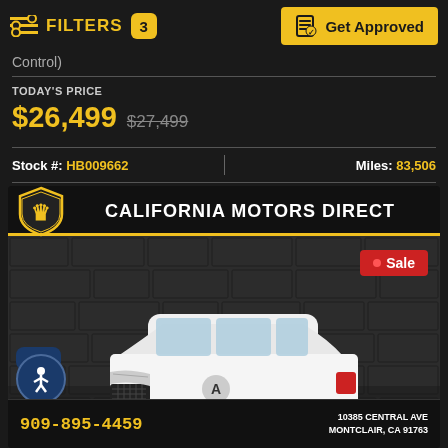FILTERS 3 | Get Approved
Control)
TODAY'S PRICE
$26,499 $27,499
Stock #: HB009662 | Miles: 83,506
[Figure (photo): California Motors Direct dealer listing showing a white Acura MDX SUV parked against a stone wall background. Dealer logo (gold lion shield) and name header, Sale badge, phone 909-895-4459, address 10385 Central Ave, Montclair, CA 91763]
909-895-4459 | 10385 CENTRAL AVE MONTCLAIR, CA 91763